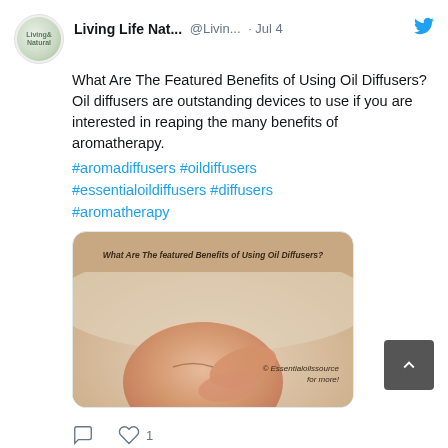[Figure (screenshot): Twitter/social media screenshot showing two tweets from Living Life Natural account]
Living Life Nat... @Livin... · Jul 4
What Are The Featured Benefits of Using Oil Diffusers? Oil diffusers are outstanding devices to use if you are interested in reaping the many benefits of aromatherapy.
#aromadiffusers #oildiffusers #essentialoildiffusers #diffusers #aromatherapy
[Figure (photo): Image of person receiving facial massage with text overlay: What Are The Featured Benefits of Using Oil Diffusers?]
1 like
Living Life Na... @Livi... · Jun
Happy Father's Day